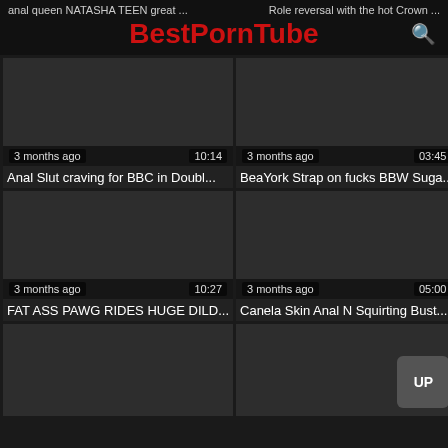BestPornTube
anal queen NATASHA TEEN great ...   Role reversal with the hot Crown ...
[Figure (screenshot): Video thumbnail placeholder dark, 3 months ago, 10:14]
Anal Slut craving for BBC in Doubl...
[Figure (screenshot): Video thumbnail placeholder dark, 3 months ago, 03:45]
BeaYork Strap on fucks BBW Suga...
[Figure (screenshot): Video thumbnail placeholder dark, 3 months ago, 10:27]
FAT ASS PAWG RIDES HUGE DILD...
[Figure (screenshot): Video thumbnail placeholder dark, 3 months ago, 05:00]
Canela Skin Anal N Squirting Bust...
[Figure (screenshot): Bottom left video thumbnail placeholder dark]
[Figure (screenshot): Bottom right video thumbnail placeholder dark with UP button]